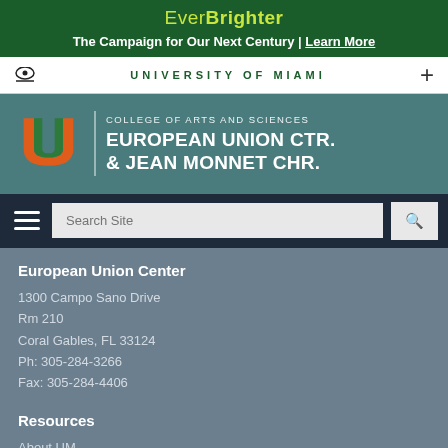EverBrighter
The Campaign for Our Next Century | Learn More
UNIVERSITY OF MIAMI
COLLEGE OF ARTS AND SCIENCES EUROPEAN UNION CTR. & JEAN MONNET CHR.
European Union Center
1300 Campo Sano Drive
Rm 210
Coral Gables, FL 33124
Ph: 305-284-3266
Fax: 305-284-4406
Resources
About UM
myUM
CaneLink